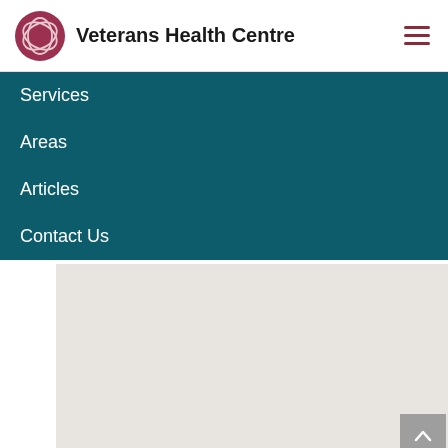Veterans Health Centre
Services
Areas
Articles
Contact Us
[Figure (map): Embedded map placeholder showing a light beige/grey map area]